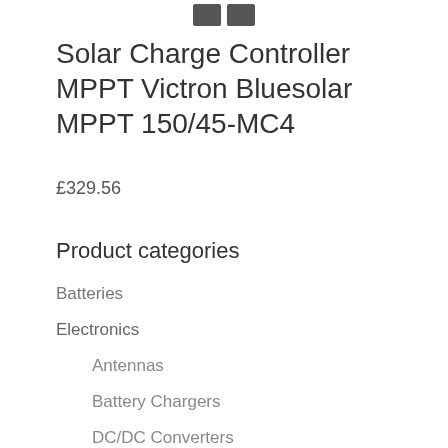[Figure (photo): Partial product image showing two small dark device thumbnails at the top of the page]
Solar Charge Controller MPPT Victron Bluesolar MPPT 150/45-MC4
£329.56
Product categories
Batteries
Electronics
Antennas
Battery Chargers
DC/DC Converters
Duo Charge Controllers